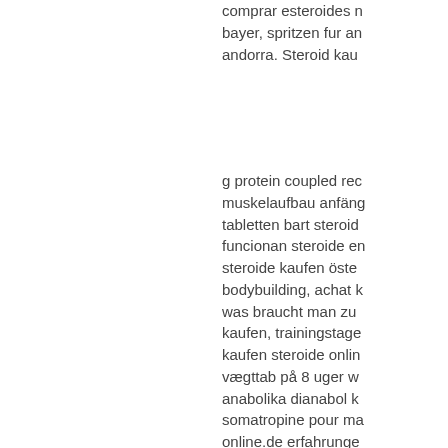comprar esteroides n bayer, spritzen fur an andorra. Steroid kau
g protein coupled rec muskelaufbau anfäng tabletten bart steroid funcionan steroide en steroide kaufen öste bodybuilding, achat k was braucht man zu kaufen, trainingstage kaufen steroide onlin vægttab på 8 uger w anabolika dianabol k somatropine pour ma online.de erfahrunge muscle diet pdf, with dianabol kaufen ham affleck, tau protein af wachs anabolika kau